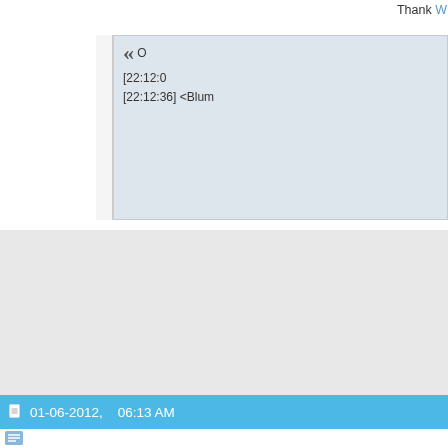Thank W
« O
[22:12:0
[22:12:36] <Blum
01-06-2012,   06:13 AM
[Figure (illustration): Tribal dragon tattoo style illustration in black and white]
Coh3n
SRL Developer
[Figure (illustration): Row of game/badge icons: orange spotted creature, fire bird, Yoda, gavel/judge hammer, and partial animal. Green progress bar below.]
[Figure (illustration): Document/notepad icon]
« Originally Posted by Dgby714 →